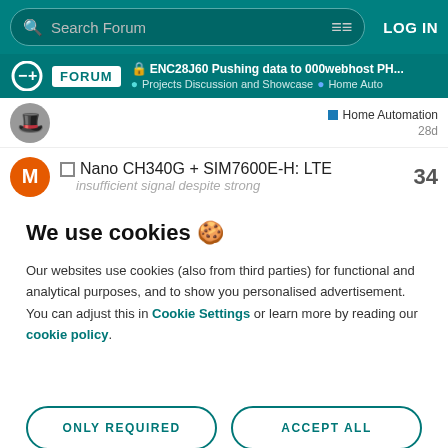Search Forum   LOG IN
FORUM  ENC28J60 Pushing data to 000webhost PH...  Projects Discussion and Showcase  Home Auto
Home Automation  28d
Nano CH340G + SIM7600E-H: LTE  insufficient signal despite strong  34
We use cookies 🍪
Our websites use cookies (also from third parties) for functional and analytical purposes, and to show you personalised advertisement. You can adjust this in Cookie Settings or learn more by reading our cookie policy.
ONLY REQUIRED
ACCEPT ALL